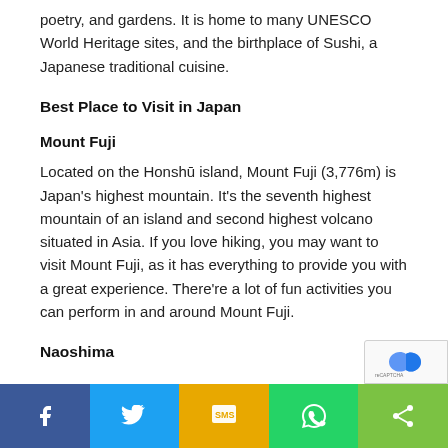poetry, and gardens. It is home to many UNESCO World Heritage sites, and the birthplace of Sushi, a Japanese traditional cuisine.
Best Place to Visit in Japan
Mount Fuji
Located on the Honshū island, Mount Fuji (3,776m) is Japan's highest mountain. It's the seventh highest mountain of an island and second highest volcano situated in Asia. If you love hiking, you may want to visit Mount Fuji, as it has everything to provide you with a great experience. There're a lot of fun activities you can perform in and around Mount Fuji.
Naoshima
[Figure (other): Social sharing bar with Facebook, Twitter, SMS, WhatsApp, and Share buttons]